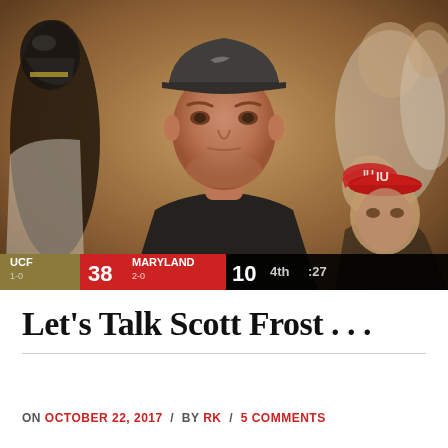[Figure (photo): A football coach in a dark polo shirt stands on the sideline surrounded by players in white and gold uniforms. A scoreboard overlay shows UCF 1-0 38, MARYLAND 2-0 10, 4th quarter :27.]
Let’s Talk Scott Frost . . .
ON OCTOBER 22, 2017 / BY RK / 5 COMMENTS